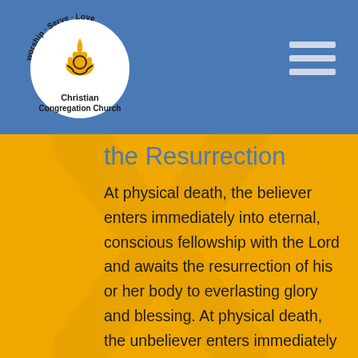[Figure (logo): Christian Congregation Church circular logo with 'Worship Serve Love' text around the border and a flame/hands icon in the center]
the Resurrection
At physical death, the believer enters immediately into eternal, conscious fellowship with the Lord and awaits the resurrection of his or her body to everlasting glory and blessing. At physical death, the unbeliever enters immediately into eternal, conscious separation from the Lord and awaits the resurrection of his or her body to everlasting suffering, judgment and